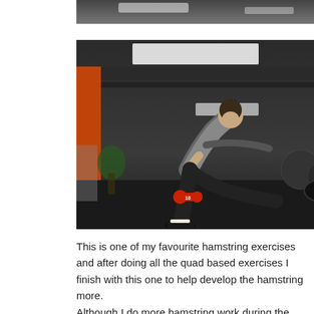[Figure (photo): Top cropped portion of a gym photo showing a ceiling area]
[Figure (photo): A man in a gray shirt and black pants performing a single-leg Romanian deadlift exercise in a gym, holding a red dumbbell near the floor, with gym equipment visible in the background]
This is one of my favourite hamstring exercises and after doing all the quad based exercises I finish with this one to help develop the hamstring more. Although I do more hamstring work during the week.